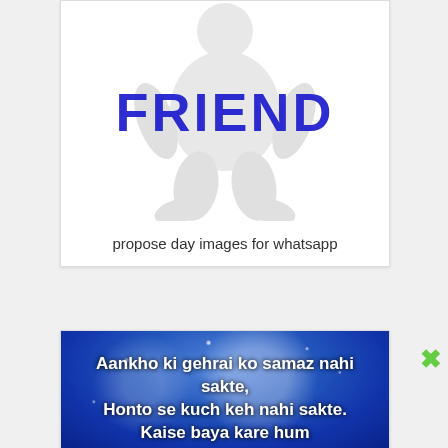[Figure (illustration): White baby/toddler figure holding or sitting behind large blue distressed bold text reading FRIEND]
propose day images for whatsapp
[Figure (illustration): Blue starry night background with white bold text in Hindi romanized script: Aankho ki gehrai ko samaz nahi sakte, Honto se kuch keh nahi sakte. Kaise baya kare hum]